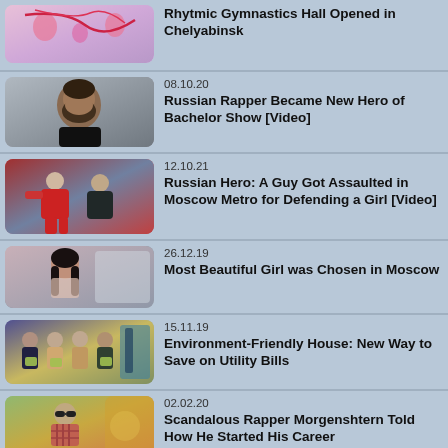Rhytmic Gymnastics Hall Opened in Chelyabinsk
08.10.20 | Russian Rapper Became New Hero of Bachelor Show [Video]
12.10.21 | Russian Hero: A Guy Got Assaulted in Moscow Metro for Defending a Girl [Video]
26.12.19 | Most Beautiful Girl was Chosen in Moscow
15.11.19 | Environment-Friendly House: New Way to Save on Utility Bills
02.02.20 | Scandalous Rapper Morgenshtern Told How He Started His Career